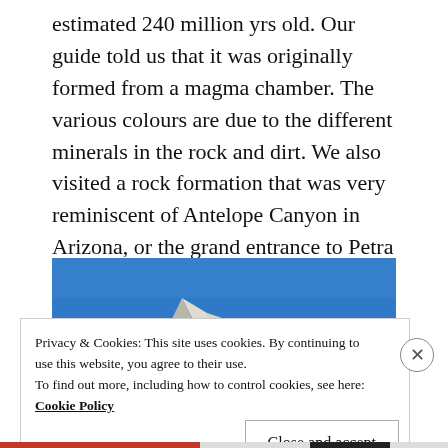estimated 240 million yrs old. Our guide told us that it was originally formed from a magma chamber. The various colours are due to the different minerals in the rock and dirt. We also visited a rock formation that was very reminiscent of Antelope Canyon in Arizona, or the grand entrance to Petra in Jordan, albeit in miniature.
[Figure (photo): A rocky mountain peak with contrasting grey/white and red/brown rock formations against a clear blue sky.]
Privacy & Cookies: This site uses cookies. By continuing to use this website, you agree to their use.
To find out more, including how to control cookies, see here: Cookie Policy
Close and accept